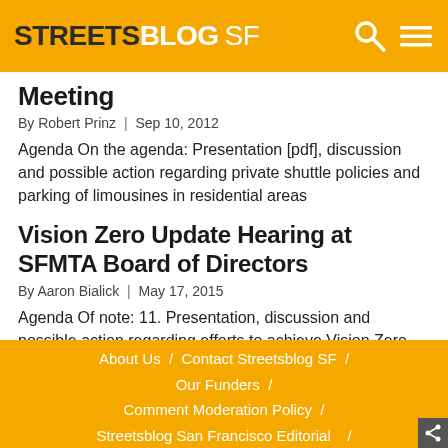STREETSBLOG SF
Meeting
By Robert Prinz | Sep 10, 2012
Agenda On the agenda: Presentation [pdf], discussion and possible action regarding private shuttle policies and parking of limousines in residential areas
Vision Zero Update Hearing at SFMTA Board of Directors
By Aaron Bialick | May 17, 2015
Agenda Of note: 11. Presentation, discussion and possible action regarding efforts to achieve Vision Zero.
About Us / Contact Streetsblog SF / Our Funders / Comment Moderation Policy / Streetsblog San Francisco Editorial /